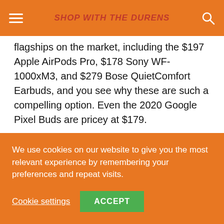SHOP WITH THE DURENS
flagships on the market, including the $197 Apple AirPods Pro, $178 Sony WF-1000xM3, and $279 Bose QuietComfort Earbuds, and you see why these are such a compelling option. Even the 2020 Google Pixel Buds are pricey at $179.
Google Pixel Buds A-Series design
We use cookies on our website to give you the most relevant experience by remembering your preferences and repeat visits.